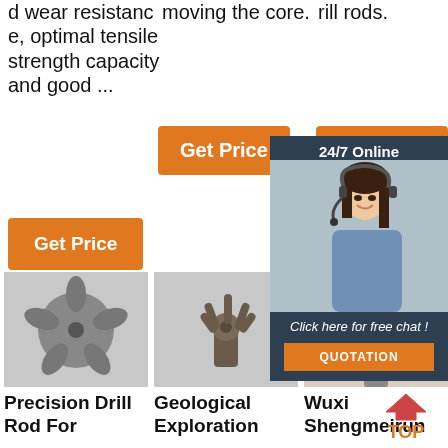d wear resistance, optimal tensile strength capacity and good ...
moving the core.
rill rods.
Get Price
Get Price
Get Price
[Figure (photo): Customer service agent with headset, 24/7 Online chat overlay panel with QUOTATION button]
[Figure (photo): Precision drill bit product photo - black drill head with multiple blades on gray background]
[Figure (photo): Geological exploration drill bit product photo on gray background]
[Figure (photo): Wuxi Shengmeirun product photo - drill rod tip visible]
Precision Drill Rod For
Geological Exploration
Wuxi Shengmeirun